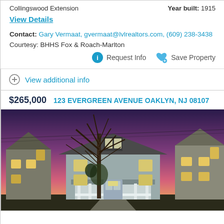Collingswood Extension   Year built: 1915
View Details
Contact: Gary Vermaat, gvermaat@lvlrealtors.com, (609) 238-3438
Courtesy: BHHS Fox & Roach-Marlton
Request Info   Save Property
View additional info
$265,000   123 EVERGREEN AVENUE OAKLYN, NJ 08107
[Figure (photo): Exterior photo of a two-story gray house at dusk/sunset with purple and pink sky. Large leafless tree in foreground, white porch railing, neighboring houses visible on both sides, lights glowing in windows.]